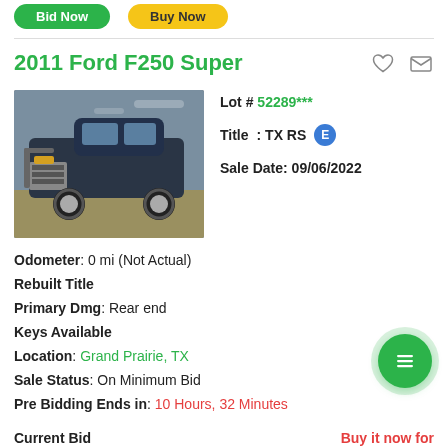[Figure (screenshot): Bid Now (green button) and Buy Now (yellow button) at top of auction listing page]
2011 Ford F250 Super
[Figure (photo): Photo of a dark blue 2011 Ford F250 Super truck, front 3/4 view in a lot]
Lot # 52289***
Title: TX RS E
Sale Date: 09/06/2022
Odometer: 0 mi (Not Actual)
Rebuilt Title
Primary Dmg: Rear end
Keys Available
Location: Grand Prairie, TX
Sale Status: On Minimum Bid
Pre Bidding Ends in: 10 Hours, 32 Minutes
Current Bid     Buy it now for